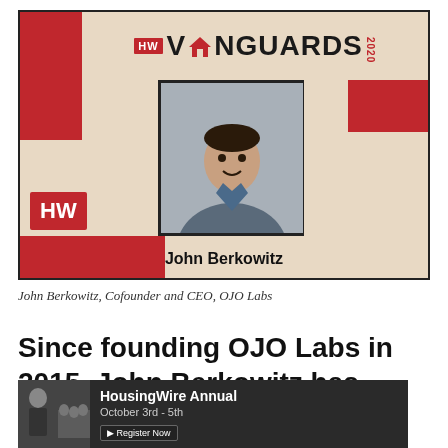[Figure (illustration): HW Vanguards 2020 banner featuring John Berkowitz. Red and beige geometric design with HousingWire HW logo, 'VANGUARDS 2020' text, and a portrait photo of John Berkowitz in the center. Name 'John Berkowitz' displayed at the bottom of the banner.]
John Berkowitz, Cofounder and CEO, OJO Labs
Since founding OJO Labs in 2015, John Berkowitz has provided the company with aut
[Figure (infographic): HousingWire Annual advertisement banner. Dark background with event details: 'HousingWire Annual', 'October 3rd - 5th', and a 'Register Now' button. Shows a man in suit on left and crowd on right.]